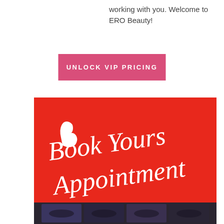working with you. Welcome to ERO Beauty!
[Figure (other): Pink/magenta button with text 'UNLOCK VIP PRICING' in white uppercase letters]
[Figure (other): Red card/banner with white handwritten script text reading 'Book Yours Appointment' with a photo strip of eyes/brows at the bottom]